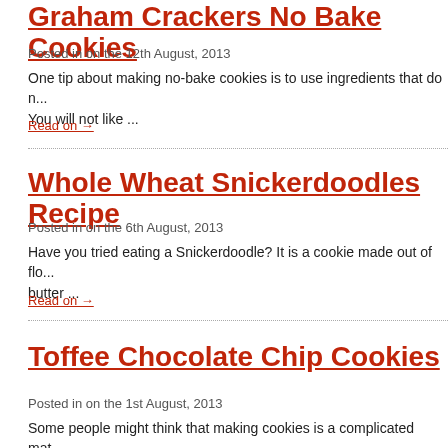Graham Crackers No Bake Cookies
Posted in on the 12th August, 2013
One tip about making no-bake cookies is to use ingredients that do n... You will not like ...
Read on →
Whole Wheat Snickerdoodles Recipe
Posted in on the 6th August, 2013
Have you tried eating a Snickerdoodle? It is a cookie made out of flo... butter ...
Read on →
Toffee Chocolate Chip Cookies
Posted in on the 1st August, 2013
Some people might think that making cookies is a complicated mat...